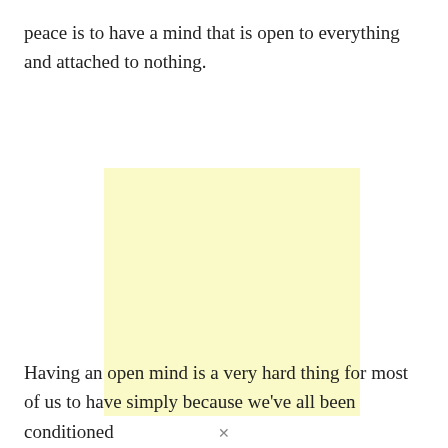peace is to have a mind that is open to everything and attached to nothing.
[Figure (other): A plain light yellow rectangular box, blank with no content inside.]
Having an open mind is a very hard thing for most of us to have simply because we've all been conditioned